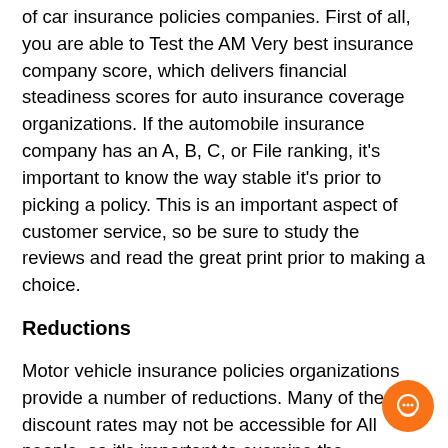of car insurance policies companies. First of all, you are able to Test the AM Very best insurance company score, which delivers financial steadiness scores for auto insurance coverage organizations. If the automobile insurance company has an A, B, C, or File ranking, it's important to know the way stable it's prior to picking a policy. This is an important aspect of customer service, so be sure to study the reviews and read the great print prior to making a choice.
Reductions
Motor vehicle insurance policies organizations provide a number of reductions. Many of these discount rates may not be accessible for All people, so it's important to examine the corporate Internet site to make sure you qualify to the special discounts that implement to you. Some providers offer you various savings, and You may as well question your insurance policy agent When they are eligible for just about any specific lower price. On the other hand, the method is a snap and sometimes will take fewer than one